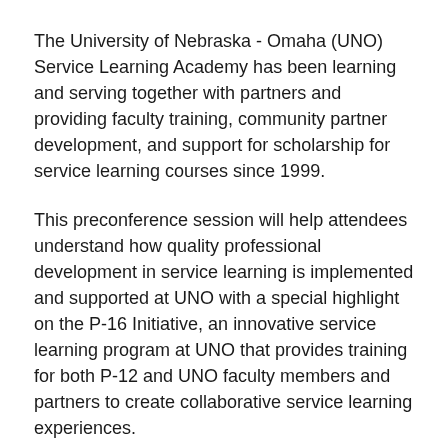The University of Nebraska - Omaha (UNO) Service Learning Academy has been learning and serving together with partners and providing faculty training, community partner development, and support for scholarship for service learning courses since 1999.
This preconference session will help attendees understand how quality professional development in service learning is implemented and supported at UNO with a special highlight on the P-16 Initiative, an innovative service learning program at UNO that provides training for both P-12 and UNO faculty members and partners to create collaborative service learning experiences.
In this model, P-12 students "see" themselves in higher education, students are heavily engaged in their learning, and communities are empowered by